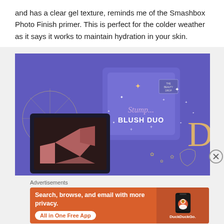and has a clear gel texture, reminds me of the Smashbox Photo Finish primer. This is perfect for the colder weather as it says it works to maintain hydration in your skin.
[Figure (photo): Photo of a purple Stumpy Blush Duo compact box with stars and celestial motifs, sitting on a matching purple box with gold illustration, alongside an open blush compact.]
Advertisements
[Figure (screenshot): DuckDuckGo advertisement banner: 'Search, browse, and email with more privacy. All in One Free App' on orange background with phone screenshot showing DuckDuckGo app.]